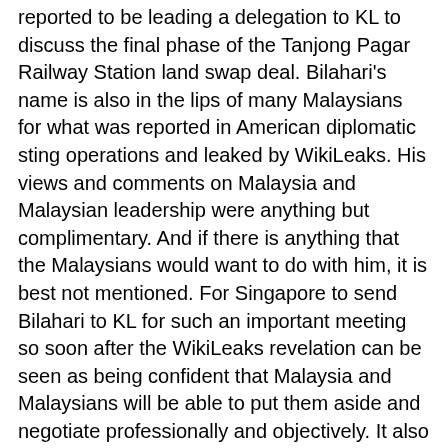reported to be leading a delegation to KL to discuss the final phase of the Tanjong Pagar Railway Station land swap deal. Bilahari's name is also in the lips of many Malaysians for what was reported in American diplomatic sting operations and leaked by WikiLeaks. His views and comments on Malaysia and Malaysian leadership were anything but complimentary. And if there is anything that the Malaysians would want to do with him, it is best not mentioned. For Singapore to send Bilahari to KL for such an important meeting so soon after the WikiLeaks revelation can be seen as being confident that Malaysia and Malaysians will be able to put them aside and negotiate professionally and objectively. It also rule up the discomfort by individuals that often behave strangely because of their own personalities and the baggage they carried with them. These must be the assessment from the Singapore side. Let's hope the assessment is right and the negotiation goes well under Bilahari's leadership. His diplomatic skills will be put to a tough test. I am just wondering what he will say to the Malaysians to appease them and be on top of the problem. People have been complaining that Singapore and Singaporeans are arrogant and insensitive. I say no, Singaporeans and Singaporeans are not arrogant and